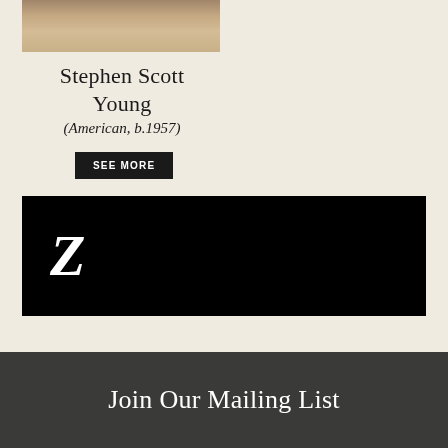[Figure (photo): Partial cropped photo of a beach scene with figures on sand]
Stephen Scott Young
(American, b.1957)
SEE MORE
[Figure (logo): Black banner with large italic white letter Z — gallery or auction house logo]
Join Our Mailing List